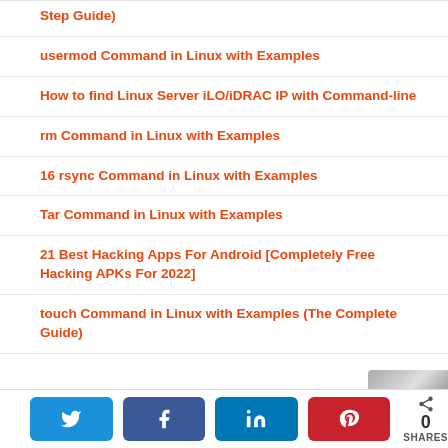Step Guide)
usermod Command in Linux with Examples
How to find Linux Server iLO/iDRAC IP with Command-line
rm Command in Linux with Examples
16 rsync Command in Linux with Examples
Tar Command in Linux with Examples
21 Best Hacking Apps For Android [Completely Free Hacking APKs For 2022]
touch Command in Linux with Examples (The Complete Guide)
Twitter | Facebook | LinkedIn | Pinterest | 0 SHARES